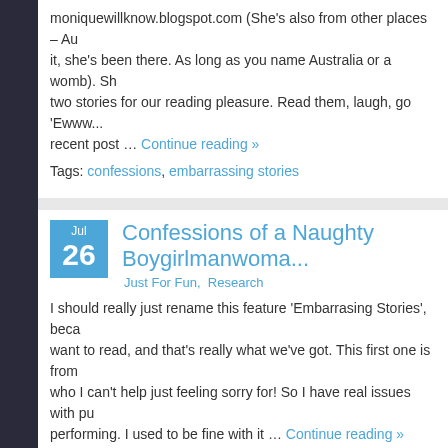moniquewillknow.blogspot.com (She's also from other places – Au it, she's been there. As long as you name Australia or a womb). Sh two stories for our reading pleasure. Read them, laugh, go 'Ewww recent post … Continue reading »
Tags: confessions, embarrassing stories
Confessions of a Naughty Boygirlmanwoma...
Just For Fun, Research
I should really just rename this feature 'Embarrasing Stories', beca want to read, and that's really what we've got. This first one is from who I can't help just feeling sorry for! So I have real issues with pu performing. I used to be fine with it … Continue reading »
Tags: confessions, embarrassing stories, sister spooky
Confessions of a Very Naughty Boygirlmanw...